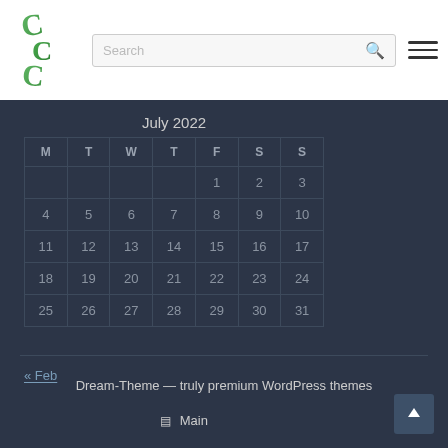[Figure (logo): Triple-C green logo with three interlocking C letters in gradient green]
Search
| M | T | W | T | F | S | S |
| --- | --- | --- | --- | --- | --- | --- |
|  |  |  |  | 1 | 2 | 3 |
| 4 | 5 | 6 | 7 | 8 | 9 | 10 |
| 11 | 12 | 13 | 14 | 15 | 16 | 17 |
| 18 | 19 | 20 | 21 | 22 | 23 | 24 |
| 25 | 26 | 27 | 28 | 29 | 30 | 31 |
« Feb
Dream-Theme — truly premium WordPress themes
⊞ Main